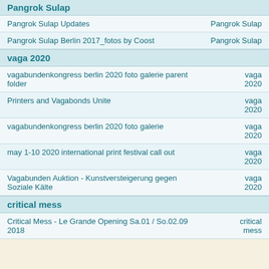Pangrok Sulap
| Title | Category |
| --- | --- |
| Pangrok Sulap Updates | Pangrok Sulap |
| Pangrok Sulap Berlin 2017_fotos by Coost | Pangrok Sulap |
vaga 2020
| Title | Category |
| --- | --- |
| vagabundenkongress berlin 2020 foto galerie parent folder | vaga 2020 |
| Printers and Vagabonds Unite | vaga 2020 |
| vagabundenkongress berlin 2020 foto galerie | vaga 2020 |
| may 1-10 2020 international print festival call out | vaga 2020 |
| Vagabunden Auktion - Kunstversteigerung gegen Soziale Kälte | vaga 2020 |
critical mess
| Title | Category |
| --- | --- |
| Critical Mess - Le Grande Opening Sa.01 / So.02.09 2018 | critical mess |